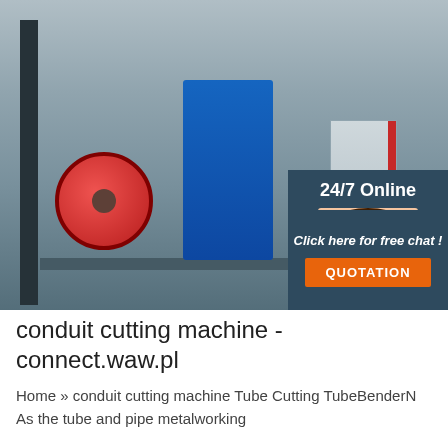[Figure (photo): Industrial conduit cutting machine in a large factory setting with red spool, gray cabinets, and blue machinery. Overlay panel on right showing '24/7 Online' text with a female customer service agent wearing a headset, plus 'Click here for free chat!' text and an orange QUOTATION button.]
conduit cutting machine - connect.waw.pl
Home » conduit cutting machine Tube Cutting TubeBenderN As the tube and pipe metalworking